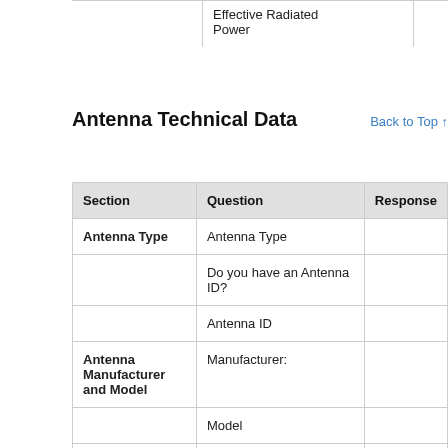|  | Question | Response |
| --- | --- | --- |
|  | Effective Radiated Power |  |
Antenna Technical Data
Back to Top ↑
| Section | Question | Response |
| --- | --- | --- |
| Antenna Type | Antenna Type |  |
|  | Do you have an Antenna ID? |  |
|  | Antenna ID |  |
| Antenna Manufacturer and Model | Manufacturer: |  |
|  | Model |  |
|  | Rotation |  |
|  | Electrical Beam Tilt |  |